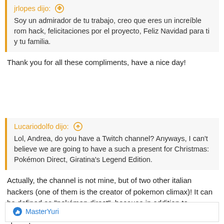jrlopes dijo: ↑
Soy un admirador de tu trabajo, creo que eres un increíble rom hack, felicitaciones por el proyecto, Feliz Navidad para ti y tu familia.
Thank you for all these compliments, have a nice day!
Lucariodolfo dijo: ↑
Lol, Andrea, do you have a Twitch channel? Anyways, I can't believe we are going to have a such a present for Christmas: Pokémon Direct, Giratina's Legend Edition.
Actually, the channel is not mine, but of two other italian hackers (one of them is the creator of pokemon climax)! It can be defined as "pokémon direct", because in addition to Giratina's legend, news about other projects will also be shown!
MasterYuri